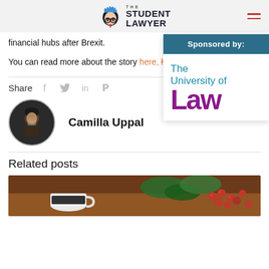THE STUDENT LAWYER
financial hubs after Brexit.
You can read more about the story here, here, and here
[Figure (other): Sponsored by: The University of Law logo]
Share
[Figure (photo): Author profile photo of Camilla Uppal]
Camilla Uppal
Related posts
[Figure (photo): Photo showing a white coffee cup and red berries on a dark background]